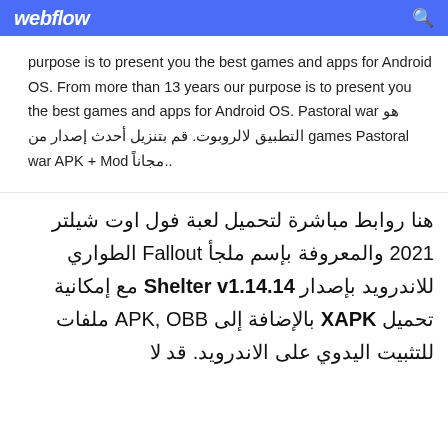webflow
purpose is to present you the best games and apps for Android OS. From more than 13 years our purpose is to present you the best games and apps for Android OS. Pastoral war هو التطبيق لالروبوت. قم بتنزيل أحدث إصدار من games Pastoral war APK + Mod مجاناً..
هنا روابط مباشرة لتحميل لعبة فول اوت شيلتر 2021 والمعروفة بإسم ملجأ Fallout الطواري للاندرويد بإصدار Shelter v1.14.14 مع إمكانية تحميل XAPK بالإضافة إلى APK, OBB ملفات للتثبيت اليدوي على الاندرويد. قد لا